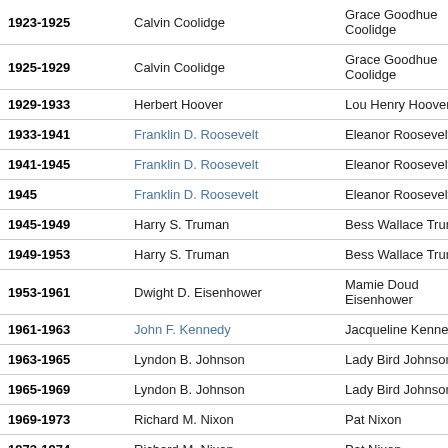| Years | President | First Lady |
| --- | --- | --- |
| 1923-1925 | Calvin Coolidge | Grace Goodhue Coolidge |
| 1925-1929 | Calvin Coolidge | Grace Goodhue Coolidge |
| 1929-1933 | Herbert Hoover | Lou Henry Hoover |
| 1933-1941 | Franklin D. Roosevelt | Eleanor Roosevelt |
| 1941-1945 | Franklin D. Roosevelt | Eleanor Roosevelt |
| 1945 | Franklin D. Roosevelt | Eleanor Roosevelt |
| 1945-1949 | Harry S. Truman | Bess Wallace Truman |
| 1949-1953 | Harry S. Truman | Bess Wallace Truman |
| 1953-1961 | Dwight D. Eisenhower | Mamie Doud Eisenhower |
| 1961-1963 | John F. Kennedy | Jacqueline Kennedy |
| 1963-1965 | Lyndon B. Johnson | Lady Bird Johnson |
| 1965-1969 | Lyndon B. Johnson | Lady Bird Johnson |
| 1969-1973 | Richard M. Nixon | Pat Nixon |
| 1973-1974 | Richard M. Nixon | Pat Nixon |
| 1974-1977 | Gerald R. Ford | Betty Ford |
| 1977-1981 | Jimmy Carter | Rosalynn Carter |